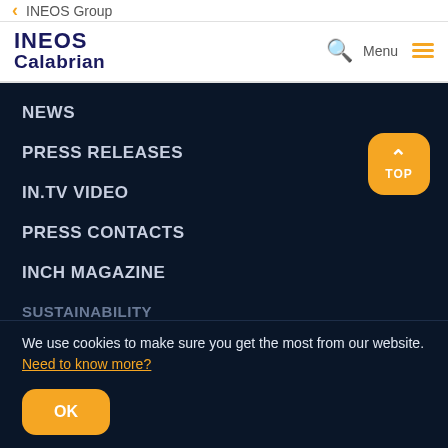< INEOS Group
[Figure (logo): INEOS Calabrian logo with navigation bar including search icon and Menu hamburger icon]
NEWS
PRESS RELEASES
IN.TV VIDEO
PRESS CONTACTS
INCH MAGAZINE
SUSTAINABILITY
We use cookies to make sure you get the most from our website. Need to know more?